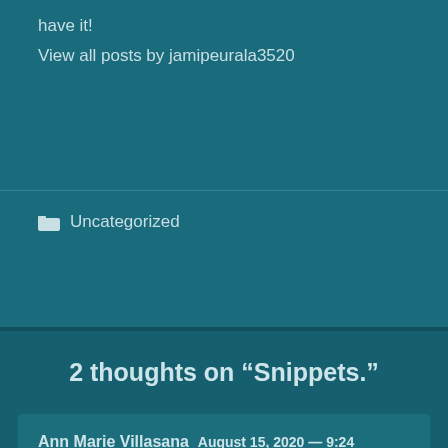have it!
View all posts by jamipeurala3520
Uncategorized
2 thoughts on “Snippets.”
Ann Marie Villasana  August 15, 2020 — 9:24 am